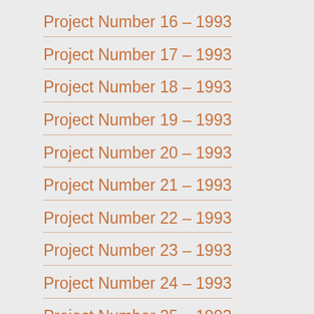Project Number 16 – 1993
Project Number 17 – 1993
Project Number 18 – 1993
Project Number 19 – 1993
Project Number 20 – 1993
Project Number 21 – 1993
Project Number 22 – 1993
Project Number 23 – 1993
Project Number 24 – 1993
Project Number 25 – 1993
Project Number 26 – 1993
Project Number 27 – 1993
Project Number 28 – 1993
Project Number 29 – 1993